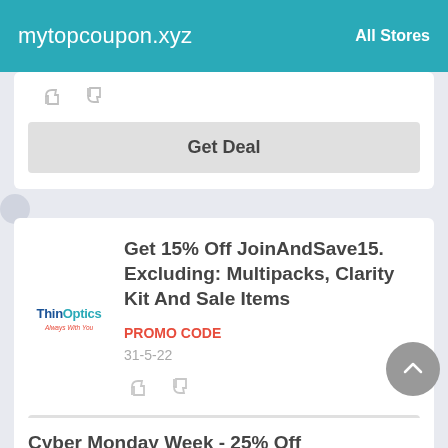mytopcoupon.xyz   All Stores
[Figure (other): Thumbs up and thumbs down icons]
Get Deal
Get 15% Off JoinAndSave15. Excluding: Multipacks, Clarity Kit And Sale Items
PROMO CODE
31-5-22
[Figure (other): Thumbs up and thumbs down icons]
JoindSave15
Cyber Monday Week - 25% Off